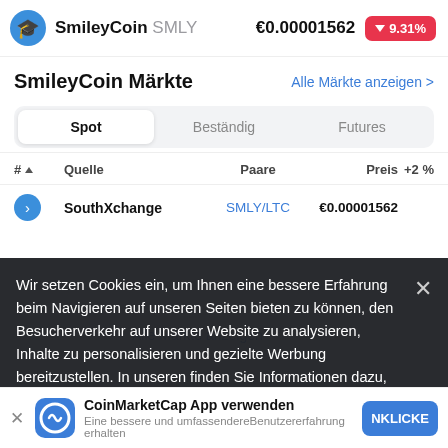SmileyCoin SMLY  €0.00001562  ▼9.31%
SmileyCoin Märkte
Alle Märkte anzeigen >
Spot  Beständig  Futures
| # | Quelle | Paare | Preis | +2 % |
| --- | --- | --- | --- | --- |
| 1 | SouthXchange | SMLY/LTC | €0.00001562 |  |
Wir setzen Cookies ein, um Ihnen eine bessere Erfahrung beim Navigieren auf unseren Seiten bieten zu können, den Besucherverkehr auf unserer Website zu analysieren, Inhalte zu personalisieren und gezielte Werbung bereitzustellen. In unseren finden Sie Informationen dazu, wie wir Cookies verwenden und wie
Alle Märkte anzeigen
CoinMarketCap App verwenden
Eine bessere und umfassendere Benutzererfahrung erhalten